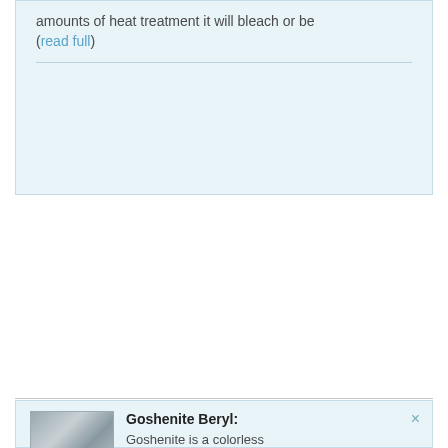amounts of heat treatment it will bleach or be (read full)
Goshenite Beryl: Goshenite is a colorless
[Figure (photo): A thumbnail photo showing what appears to be gemstones or minerals on a surface]